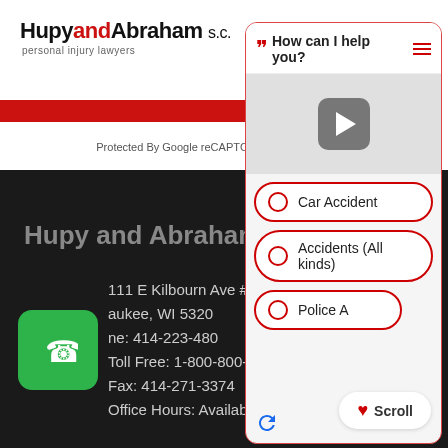[Figure (screenshot): Hupy and Abraham website screenshot with chatbot overlay. Top white bar shows logo 'HupyandAbraham s.c. personal injury lawyers'. A red horizontal bar and Google reCAPTCHA text row are visible. A dark footer section shows company address: 111 E Kilbourn Ave #1100, Milwaukee, WI 5320x, Phone: 414-223-480x, Toll Free: 1-800-800-5678, Fax: 414-271-3374, Office Hours: Available. A green phone button is on the lower left. A chatbot overlay panel on the right shows 'How can I help you?' header with hamburger and phone icons, a video play button area, and chat options: Car Accident, Accidents (All kinds), Police A... A Scroll button with heart icon is at the bottom right.]